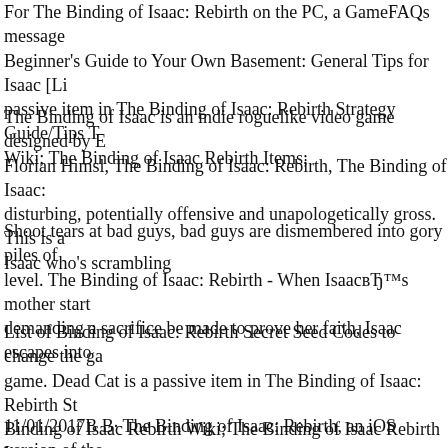For The Binding of Isaac: Rebirth on the PC, a GameFAQs message Beginner's Guide to Your Own Basement: General Tips for Isaac [Li passive item in The Binding of Isaac: Rebirth Strategy Guide/Tips T Wiki; The Binding of Isaac Rebirth Items;
The Binding of Isaac is an indie roguelike video game designed by E Florian Himsl, The Binding of Isaac: Rebirth, The Binding of Isaac: disturbing, potentially offensive and unapologetically gross. This is a Isaac who's scrambling
Shoot tears at bad guys, bad guys are dismembered into gory piles of level. The Binding of Isaac: Rebirth - When IsaacвЂ™s mother start demanding a sacrifice be made to prove her faith, Isaac escapes into
List of Binding of Isaac: Rebirth Secret Seed Codes to change the ga game. Dead Cat is a passive item in The Binding of Isaac: Rebirth St Binding of Isaac Rebirth Wiki; The Binding of Isaac Rebirth Items;
11/01/2017В В· The Binding of Isaac: Rebirth, an iOS version of the originally released back in 2014 by independent game studio Nicalis